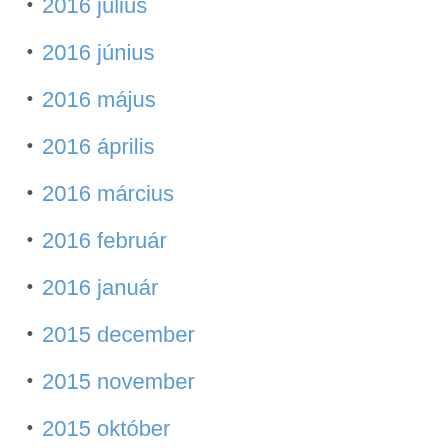2016 július
2016 június
2016 május
2016 április
2016 március
2016 február
2016 január
2015 december
2015 november
2015 október
2015 szeptember
2015 augusztus
2015 július
2015 június
2015 május
2015 április
2015 március
2015 február
2015 január
2014 december
2014 november
2014 október
2014 szeptember